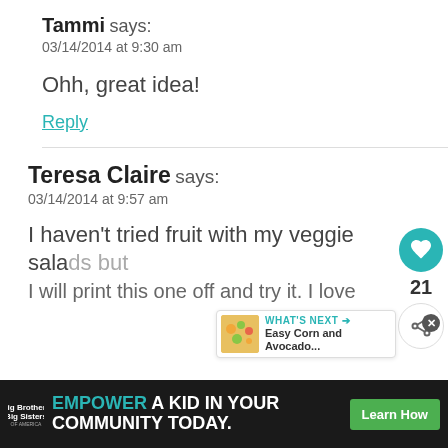Tammi says: 03/14/2014 at 9:30 am
Ohh, great idea!
Reply
[Figure (infographic): Like button (heart) and share button sidebar with count 21]
Teresa Claire says: 03/14/2014 at 9:57 am
[Figure (infographic): What's Next promo: Easy Corn and Avocado... with food photo]
I haven't tried fruit with my veggie salads but I will print this one off and try it. I love
[Figure (infographic): Ad banner: Big Brothers Big Sisters - EMPOWER A KID IN YOUR COMMUNITY TODAY. Learn How]